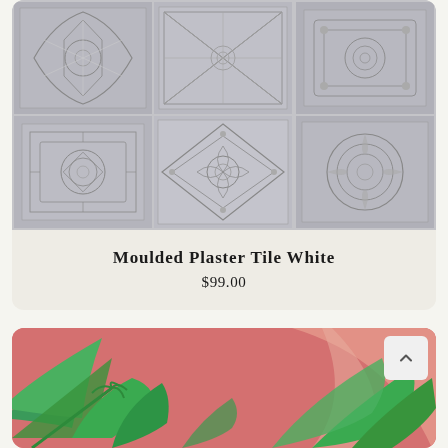[Figure (photo): Decorative moulded plaster tile pattern in white/grey tones, showing multiple ornate tile designs arranged in a grid]
Moulded Plaster Tile White
$99.00
[Figure (photo): Tropical leaves wallpaper with pink/coral background and green palm/monstera leaves]